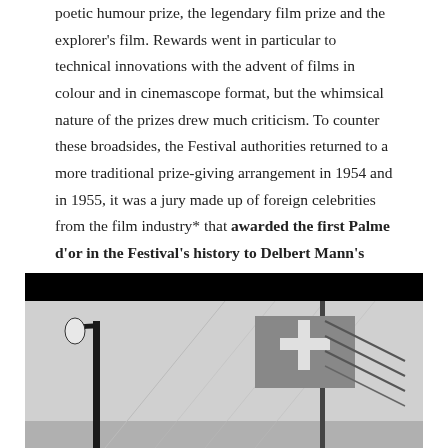poetic humour prize, the legendary film prize and the explorer's film. Rewards went in particular to technical innovations with the advent of films in colour and in cinemascope format, but the whimsical nature of the prizes drew much criticism. To counter these broadsides, the Festival authorities returned to a more traditional prize-giving arrangement in 1954 and in 1955, it was a jury made up of foreign celebrities from the film industry* that awarded the first Palme d'or in the Festival's history to Delbert Mann's Marty.
[Figure (photo): Black and white photograph showing a lamp post on the left and a flag with a Swiss cross on the right, against a light background.]